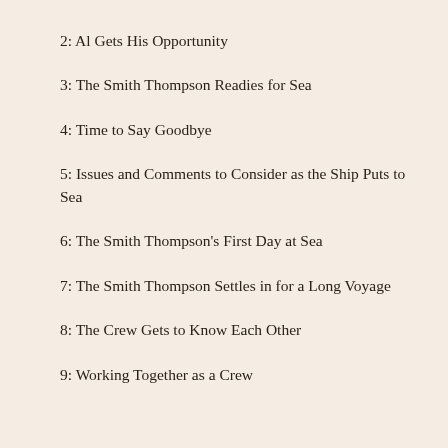2: Al Gets His Opportunity
3: The Smith Thompson Readies for Sea
4: Time to Say Goodbye
5: Issues and Comments to Consider as the Ship Puts to Sea
6: The Smith Thompson's First Day at Sea
7: The Smith Thompson Settles in for a Long Voyage
8: The Crew Gets to Know Each Other
9: Working Together as a Crew